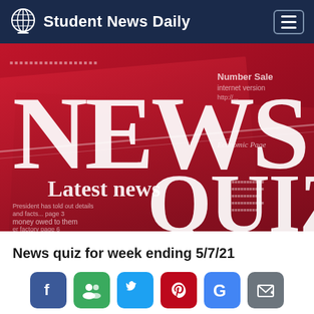Student News Daily
[Figure (photo): Red newspaper close-up with large white text 'NEWS' and 'QUIZ', plus 'Latest news' headline visible on the newspaper pages.]
News quiz for week ending 5/7/21
[Figure (infographic): Social sharing buttons row: Facebook (blue), Friends/Google+ (green), Twitter (light blue), Pinterest (red), Google (blue), Email (grey)]